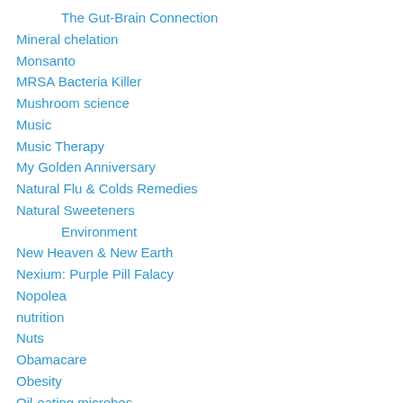The Gut-Brain Connection
Mineral chelation
Monsanto
MRSA Bacteria Killer
Mushroom science
Music
Music Therapy
My Golden Anniversary
Natural Flu & Colds Remedies
Natural Sweeteners
Environment
New Heaven & New Earth
Nexium: Purple Pill Falacy
Nopolea
nutrition
Nuts
Obamacare
Obesity
Oil-eating microbes
Oils